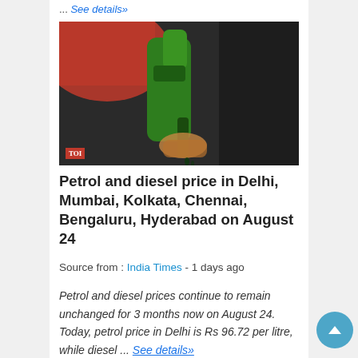... See details»
[Figure (photo): Close-up of a green petrol/fuel pump nozzle being held, with a red car in background. TOI badge in bottom left.]
Petrol and diesel price in Delhi, Mumbai, Kolkata, Chennai, Bengaluru, Hyderabad on August 24
Source from : India Times - 1 days ago
Petrol and diesel prices continue to remain unchanged for 3 months now on August 24. Today, petrol price in Delhi is Rs 96.72 per litre, while diesel ... See details»
Bharat Petroleum Bets Big on EV Charging Infrastructure